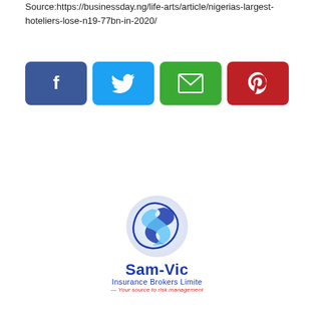Source:https://businessday.ng/life-arts/article/nigerias-largest-hoteliers-lose-n19-77bn-in-2020/
[Figure (infographic): Four social media sharing buttons: Facebook (blue), Twitter (light blue), Email (green), Pinterest (red), each with respective icons]
[Figure (logo): Sam-Vic Insurance Brokers Limited logo with blue swoosh/S-shape graphic, company name in blue, tagline 'Your source to risk management' in red italic]